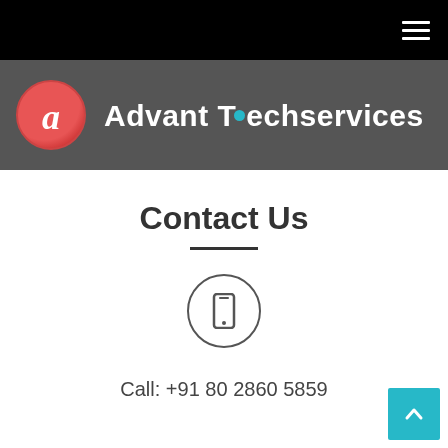Advant Techservices
Contact Us
[Figure (illustration): Phone/mobile icon inside a circle border]
Call: +91 80 2860 5859